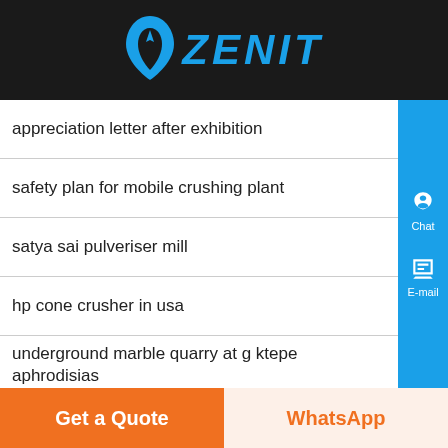ZENIT
appreciation letter after exhibition
safety plan for mobile crushing plant
satya sai pulveriser mill
hp cone crusher in usa
underground marble quarry at g ktepe aphrodisias
pebble washing equipment supplier
adjusting impactor crusher
gold miner processing equipment
sale schimit tempo grinding machine